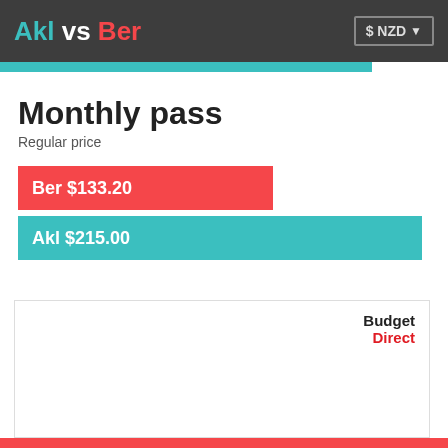Akl vs Ber   $ NZD
Monthly pass
Regular price
[Figure (bar-chart): Monthly pass - Regular price]
[Figure (logo): Budget Direct logo in top-right of white bordered box]